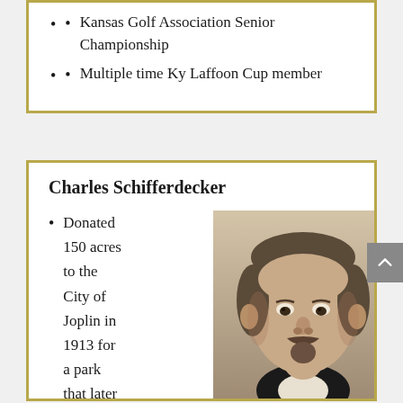Kansas Golf Association Senior Championship
Multiple time Ky Laffoon Cup member
Charles Schifferdecker
Donated 150 acres to the City of Joplin in 1913 for a park that later
[Figure (photo): Black and white portrait photograph of Charles Schifferdecker, a middle-aged man with a mustache and goatee, wearing a dark suit.]